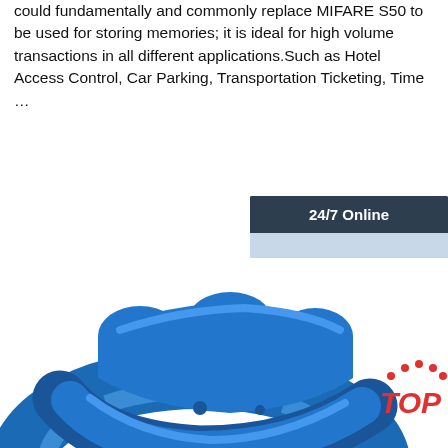could fundamentally and commonly replace MIFARE S50 to be used for storing memories; it is ideal for high volume transactions in all different applications.Such as Hotel Access Control, Car Parking, Transportation Ticketing, Time …
[Figure (other): Orange 'Get Price' button]
[Figure (photo): Customer service chat widget showing '24/7 Online' header, photo of a smiling woman with headset, 'Click here for free chat!' text, and an orange 'QUOTATION' button]
[Figure (photo): Blue RFID silicone wristband product photo, viewed from above, with a red 'TOP' logo with dot pattern in the lower right corner]